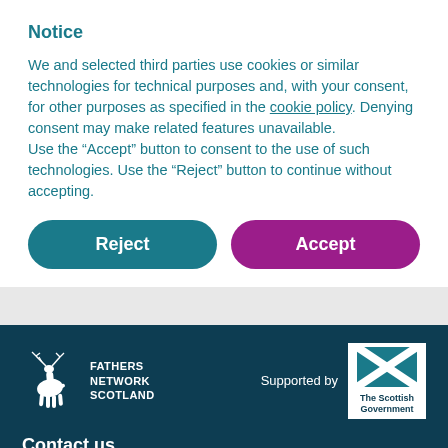Notice
We and selected third parties use cookies or similar technologies for technical purposes and, with your consent, for other purposes as specified in the cookie policy. Denying consent may make related features unavailable.
Use the “Accept” button to consent to the use of such technologies. Use the “Reject” button to continue without accepting.
Reject | Accept (buttons)
[Figure (logo): Fathers Network Scotland logo with stag and text, and The Scottish Government saltire logo with 'Supported by' label]
Contact us